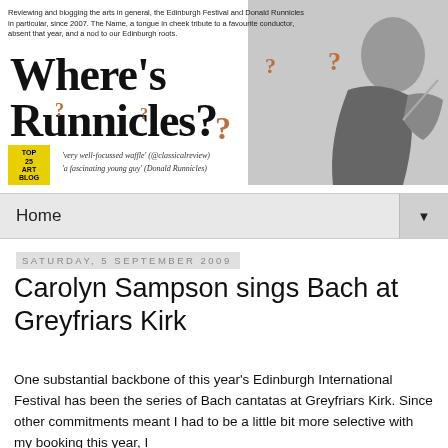[Figure (illustration): Website banner for 'Where's Runnicles?' blog showing the title in large serif font, decorative question marks in brown, a black-and-white photo of a conductor on the right, a yellow Top 25 Art Blog badge, tagline text, and italic quotes from reviews.]
Home ▼
Saturday, 5 September 2009
Carolyn Sampson sings Bach at Greyfriars Kirk
One substantial backbone of this year's Edinburgh International Festival has been the series of Bach cantatas at Greyfriars Kirk. Since other commitments meant I had to be a little bit more selective with my booking this year, I